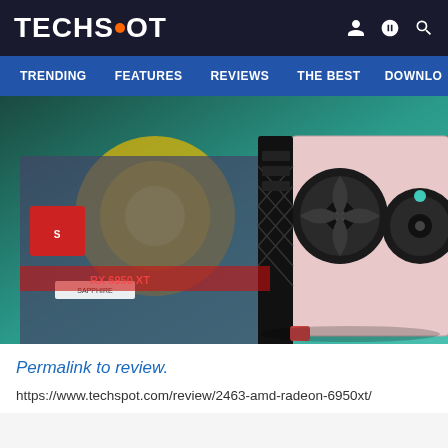TECHSPOT
[Figure (screenshot): TechSpot navigation bar with menu items: TRENDING, FEATURES, REVIEWS, THE BEST, DOWNLO]
[Figure (photo): AMD Radeon 6950 XT graphics card shown from the side/rear angle, with a Sapphire box in the background and teal/green bokeh lighting]
Permalink to review.
https://www.techspot.com/review/2463-amd-radeon-6950xt/